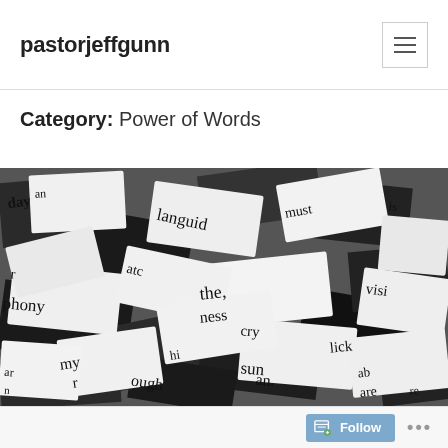pastorjeffgunn
Category: Power of Words
[Figure (photo): Black and white photo of scrambled word tiles/letters scattered in a pile, showing various words and letter fragments including: day, an, languid, phony, the, must, is, vision, cry, lick, sun, my, ough, are, r, and others.]
Follow